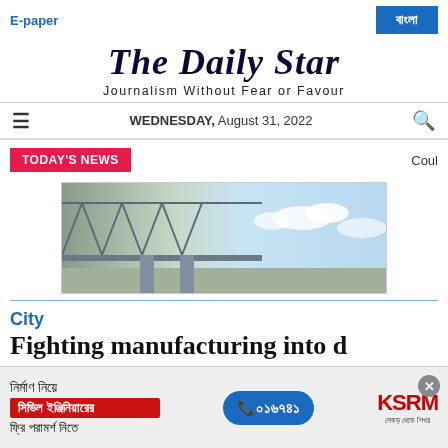E-paper | বাংলা
The Daily Star
Journalism Without Fear or Favour
WEDNESDAY, August 31, 2022
TODAY'S NEWS
Coul
[Figure (photo): A large modern bridge structure against a blue sky, side view showing the steel truss and support pillars]
City
Fighting manufacturing into d...
[Figure (infographic): Advertisement overlay: নির্মাণ নিয়ে / সিভিল ইঞ্জিনিয়ারের / ফ্রি পরামর্শ নিতে | ০১৬৭৪৯ | KSRM সেকড় থেকে শিখর]